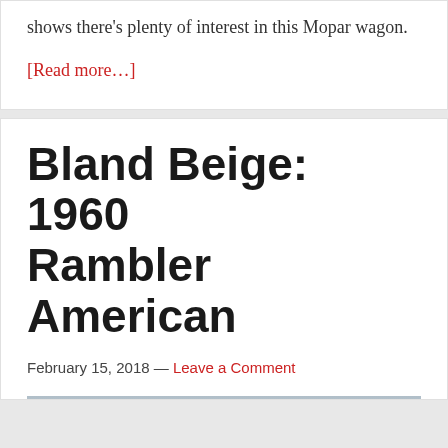shows there's plenty of interest in this Mopar wagon.
[Read more…]
Bland Beige: 1960 Rambler American
February 15, 2018 — Leave a Comment
[Figure (photo): Outdoor photo of a 1960 Rambler American car in a snowy/wintry rural setting with a blue building in the background]